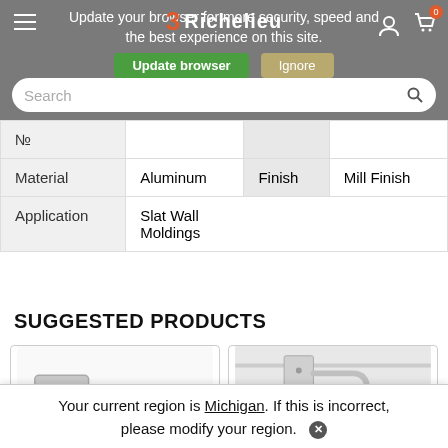Update your browser for more security, speed and the best experience on this site. Update browser Ignore
|  |  |  |  |
| --- | --- | --- | --- |
| No |  |  |  |
| Material | Aluminum | Finish | Mill Finish |
| Application | Slat Wall Moldings |  |  |
SUGGESTED PRODUCTS
[Figure (photo): Product image showing a metal hook/bracket, silver colored, for slat wall]
[Figure (photo): Product image showing a metal hook mounted on slat wall, chrome finish]
Your current region is Michigan. If this is incorrect, please modify your region.